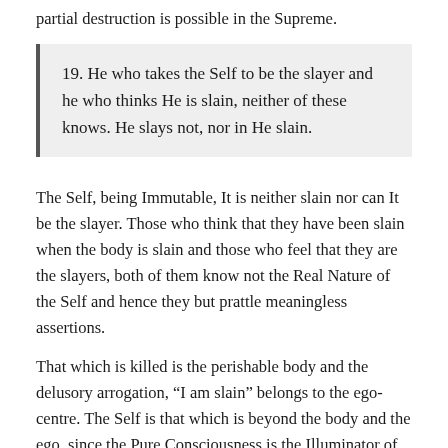partial destruction is possible in the Supreme.
19. He who takes the Self to be the slayer and he who thinks He is slain, neither of these knows. He slays not, nor in He slain.
The Self, being Immutable, It is neither slain nor can It be the slayer. Those who think that they have been slain when the body is slain and those who feel that they are the slayers, both of them know not the Real Nature of the Self and hence they but prattle meaningless assertions.
That which is killed is the perishable body and the delusory arrogation, “I am slain” belongs to the ego-centre. The Self is that which is beyond the body and the ego, since the Pure Consciousness is the Illuminator of both, the body and the ego.